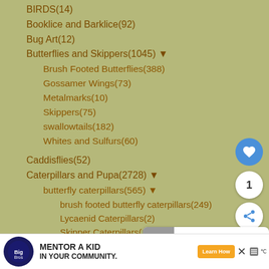BIRDS(14)
Booklice and Barklice(92)
Bug Art(12)
Butterflies and Skippers(1045) ▼
Brush Footed Butterflies(388)
Gossamer Wings(73)
Metalmarks(10)
Skippers(75)
swallowtails(182)
Whites and Sulfurs(60)
Caddisflies(52)
Caterpillars and Pupa(2728) ▼
butterfly caterpillars(565) ▼
brush footed butterfly caterpillars(249)
Lycaenid Caterpillars(2)
Skipper Caterpillars(15)
Sulphur and White Caterpillars(18)
swallowtail caterpillars(259)
[Figure (infographic): UI elements: heart/like button (blue circle), count badge showing '1', share button (white circle with share icon), and a 'What's Next' panel showing 'Small Biting Insect might...']
[Figure (infographic): Advertisement bar at bottom: Big Brothers Big Sisters logo, 'MENTOR A KID IN YOUR COMMUNITY.' text, 'Learn How' button, close button, weather icons, and temperature indicator]